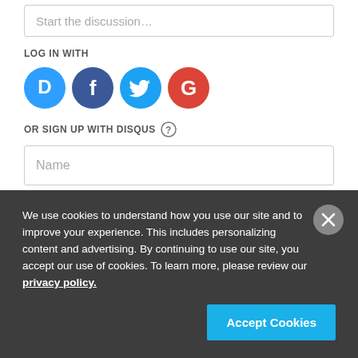Start the discussion…
LOG IN WITH
[Figure (other): Social login icons: Disqus (blue), Facebook (blue), Twitter (cyan), Google (red)]
OR SIGN UP WITH DISQUS ?
Name
We use cookies to understand how you use our site and to improve your experience. This includes personalizing content and advertising. By continuing to use our site, you accept our use of cookies. To learn more, please review our privacy policy.
Accept Cookies